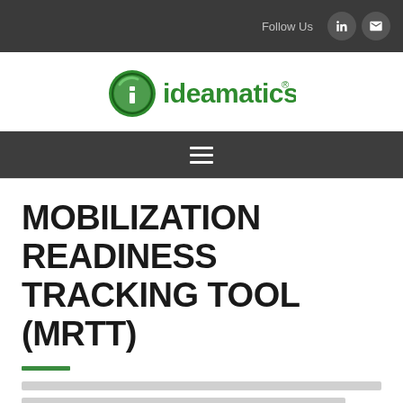Follow Us
[Figure (logo): Ideamatics logo: green circle icon with letter i and lightning bolt, followed by green text 'ideamatics' with registered trademark symbol]
MOBILIZATION READINESS TRACKING TOOL (MRTT)
[Body text content — blurred/not legible in source]